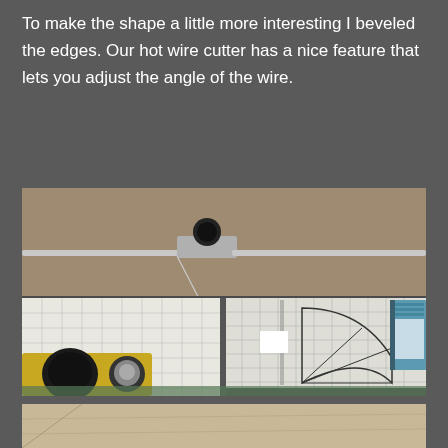To make the shape a little more interesting I beveled the edges. Our hot wire cutter has a nice feature that lets you adjust the angle of the wire.
[Figure (photo): Photo of a hot wire foam cutter setup on a workbench. The upper portion shows the wire arm mechanism with a black knob on top and a horizontal aluminum rail. Below is a cutting surface with grid mats, a small white foam piece being cut, geometric drawings/templates on the right, and control knobs (yellow box with black knobs) on the lower left.]
[Figure (photo): Partial view of another photo at the bottom of the page, showing a light tan/beige foam surface or material.]